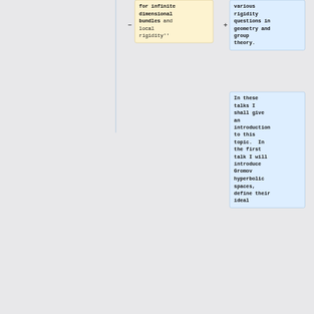for infinite dimensional bundles and local rigidity''
various rigidity questions in geometry and group theory.
In these talks I shall give an introduction to this topic.  In the first talk I will introduce Gromov hyperbolic spaces, define their ideal